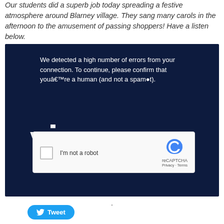Our students did a superb job today spreading a festive atmosphere around Blarney village. They sang many carols in the afternoon to the amusement of passing shoppers! Have a listen below.
[Figure (screenshot): Screenshot of a Vimeo page blocked by a reCAPTCHA error message. Dark navy background with white text reading: 'We detected a high number of errors from your connection. To continue, please confirm that youâ€™re a human (and not a spam●t).' The Vimeo logo in large white bold text is partially visible. A reCAPTCHA checkbox widget shows 'I'm not a robot' with the reCAPTCHA logo, Privacy and Terms links.]
.
Tweet